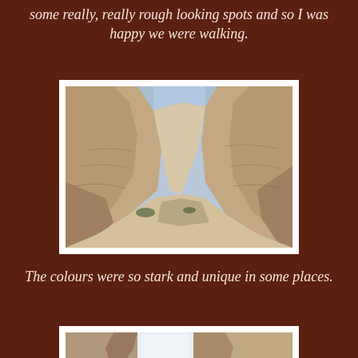some really, really rough looking spots and so I was happy we were walking.
[Figure (photo): A narrow canyon with tall sandy/rocky walls converging toward a strip of blue sky. The canyon floor is sandy. The rock layers show dramatic erosion patterns.]
The colours were so stark and unique in some places.
[Figure (photo): Close-up view of rocky desert formations with bright light behind them, showing eroded sandstone pillars and cliff faces.]